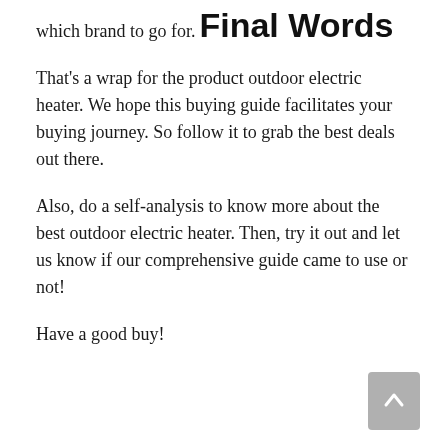which brand to go for.
Final Words
That's a wrap for the product outdoor electric heater. We hope this buying guide facilitates your buying journey. So follow it to grab the best deals out there.
Also, do a self-analysis to know more about the best outdoor electric heater. Then, try it out and let us know if our comprehensive guide came to use or not!
Have a good buy!